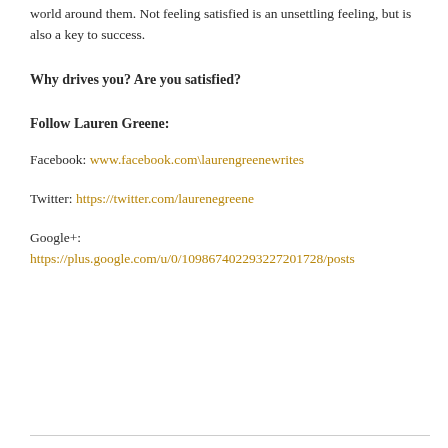world around them. Not feeling satisfied is an unsettling feeling, but is also a key to success.
Why drives you? Are you satisfied?
Follow Lauren Greene:
Facebook: www.facebook.com\laurengreenewrites
Twitter: https://twitter.com/laurenegreene
Google+: https://plus.google.com/u/0/109867402293227201728/posts